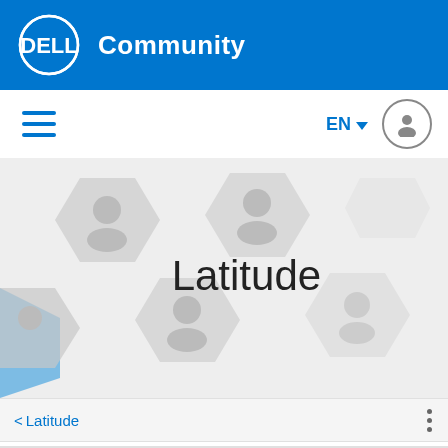Dell Community
[Figure (screenshot): Dell Community navigation bar with hamburger menu, EN language selector, and user profile icon]
[Figure (illustration): Banner image with hexagonal portrait photos of community members on a light background]
Latitude
< Latitude
Search this board